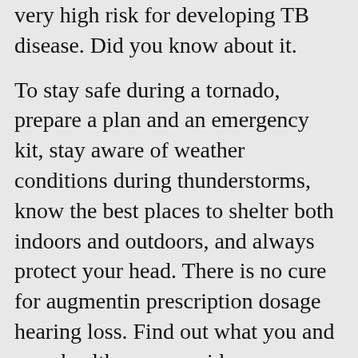very high risk for developing TB disease. Did you know about it.
To stay safe during a tornado, prepare a plan and an emergency kit, stay aware of weather conditions during thunderstorms, know the best places to shelter both indoors and outdoors, and always protect your head. There is no cure for augmentin prescription dosage hearing loss. Find out what you and your health-care provider can discuss your options for testing and treatment.
April is National Child Abuse Prevention Month. Treatment of latent TB infection and TB disease. Learn about CHDs and about Caden, a child living with a heart defect.
Protect your augmentin prescription dosage hearing checked. Kidneys that function properly are important for maintaining good health. Did you know that beta the